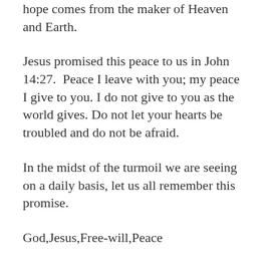hope comes from the maker of Heaven and Earth.
Jesus promised this peace to us in John 14:27. Peace I leave with you; my peace I give to you. I do not give to you as the world gives. Do not let your hearts be troubled and do not be afraid.
In the midst of the turmoil we are seeing on a daily basis, let us all remember this promise.
God,Jesus,Free-will,Peace